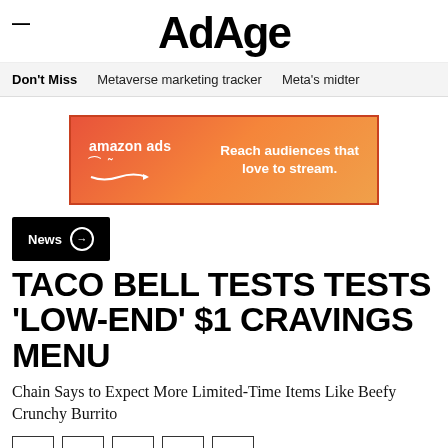AdAge
Don't Miss   Metaverse marketing tracker   Meta's midter
[Figure (other): Amazon Ads banner advertisement: orange/red gradient background with 'amazon ads' logo on left and text 'Reach audiences that love to stream.' on right]
News →
TACO BELL TESTS TESTS 'LOW-END' $1 CRAVINGS MENU
Chain Says to Expect More Limited-Time Items Like Beefy Crunchy Burrito
Social share icons: Facebook, Twitter, LinkedIn, Copy, Email